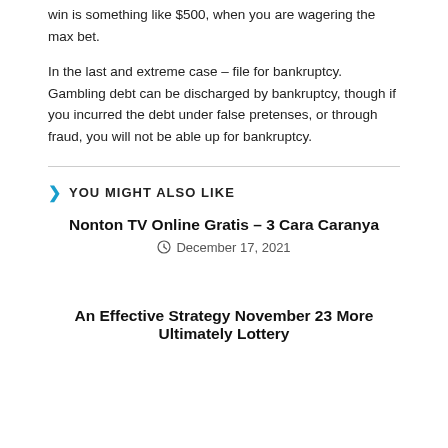win is something like $500, when you are wagering the max bet.
In the last and extreme case – file for bankruptcy. Gambling debt can be discharged by bankruptcy, though if you incurred the debt under false pretenses, or through fraud, you will not be able up for bankruptcy.
YOU MIGHT ALSO LIKE
Nonton TV Online Gratis – 3 Cara Caranya
December 17, 2021
An Effective Strategy November 23 More Ultimately Lottery